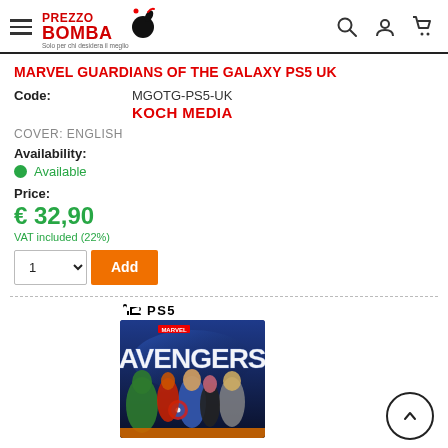[Figure (logo): PrezzoBAOMBA logo with hamburger menu and icons]
MARVEL GUARDIANS OF THE GALAXY PS5 UK
Code: MGOTG-PS5-UK
KOCH MEDIA
COVER: ENGLISH
Availability:
Available
Price:
€ 32,90
VAT included (22%)
[Figure (screenshot): Marvel Avengers PS5 game cover showing characters including Hulk, Captain America, Thor, Black Widow and other Avengers on a blue background]